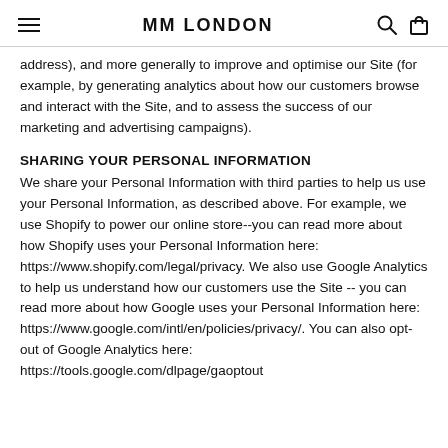MM LONDON
address), and more generally to improve and optimise our Site (for example, by generating analytics about how our customers browse and interact with the Site, and to assess the success of our marketing and advertising campaigns).
SHARING YOUR PERSONAL INFORMATION
We share your Personal Information with third parties to help us use your Personal Information, as described above. For example, we use Shopify to power our online store--you can read more about how Shopify uses your Personal Information here: https://www.shopify.com/legal/privacy. We also use Google Analytics to help us understand how our customers use the Site -- you can read more about how Google uses your Personal Information here: https://www.google.com/intl/en/policies/privacy/. You can also opt-out of Google Analytics here: https://tools.google.com/dlpage/gaoptout